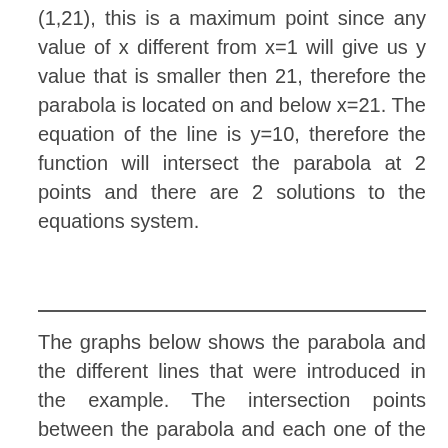(1,21), this is a maximum point since any value of x different from x=1 will give us y value that is smaller then 21, therefore the parabola is located on and below x=21. The equation of the line is y=10, therefore the function will intersect the parabola at 2 points and there are 2 solutions to the equations system.
The graphs below shows the parabola and the different lines that were introduced in the example. The intersection points between the parabola and each one of the lines